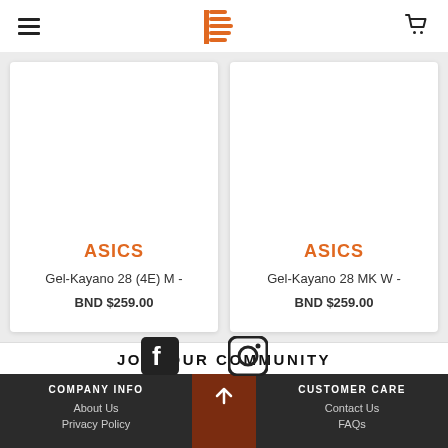Navigation header with hamburger menu, logo, and cart icon
[Figure (infographic): Product card for ASICS Gel-Kayano 28 (4E) M - BND $259.00]
[Figure (infographic): Product card for ASICS Gel-Kayano 28 MK W - BND $259.00]
JOIN OUR COMMUNITY
[Figure (logo): Facebook and Instagram social media icons]
COMPANY INFO | About Us | Privacy Policy | CUSTOMER CARE | Contact Us | FAQs